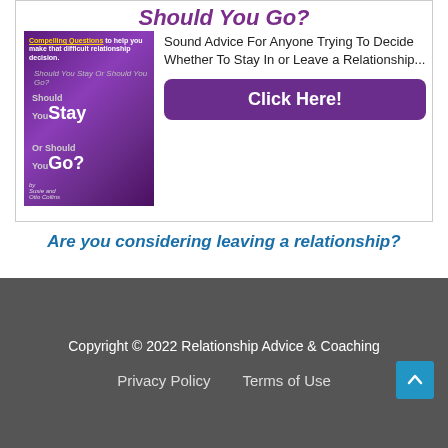[Figure (illustration): Book advertisement for 'Should You Stay or Should You Go?' showing a purple book cover with a woman and the title, alongside text 'Sound Advice For Anyone Trying To Decide Whether To Stay In or Leave a Relationship...' and a purple 'Click Here!' button]
Are you considering leaving a relationship?
Copyright © 2022 Relationship Advice & Coaching
Privacy Policy   Terms of Use